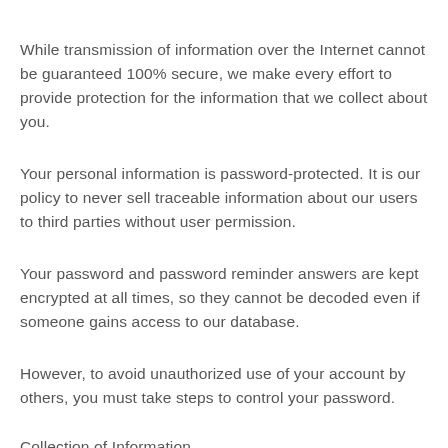While transmission of information over the Internet cannot be guaranteed 100% secure, we make every effort to provide protection for the information that we collect about you.
Your personal information is password-protected. It is our policy to never sell traceable information about our users to third parties without user permission.
Your password and password reminder answers are kept encrypted at all times, so they cannot be decoded even if someone gains access to our database.
However, to avoid unauthorized use of your account by others, you must take steps to control your password.
Collection of Information